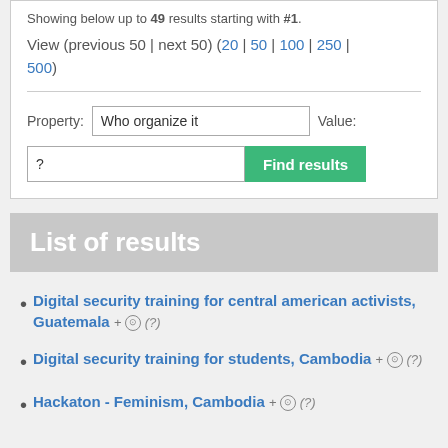Showing below up to 49 results starting with #1.
View (previous 50 | next 50) (20 | 50 | 100 | 250 | 500)
Property: Who organize it   Value:
? Find results
List of results
Digital security training for central american activists, Guatemala + ⊙ (?)
Digital security training for students, Cambodia + ⊙ (?)
Hackaton - Feminism, Cambodia + ⊙ (?)